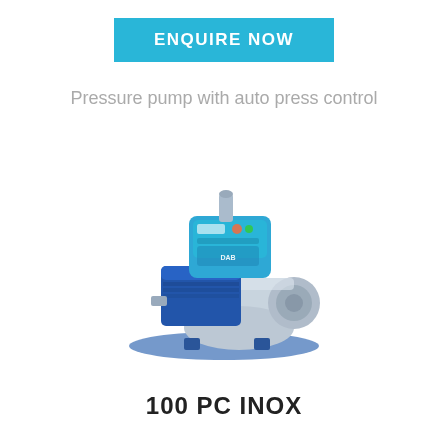ENQUIRE NOW
Pressure pump with auto press control
[Figure (photo): A pressure pump (100 PC INOX model) with stainless steel body and blue automatic pressure control unit mounted on top, shown on a blue base plate.]
100 PC INOX